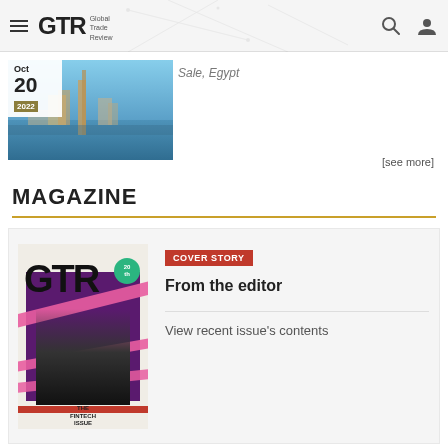GTR Global Trade Review
[Figure (photo): GTR event thumbnail showing aerial city view (Egypt) with date Oct 20 2022]
Sale, Egypt
[see more]
MAGAZINE
[Figure (photo): GTR magazine cover - The Fintech Issue with purple background and ribbon design]
COVER STORY
From the editor
View recent issue's contents